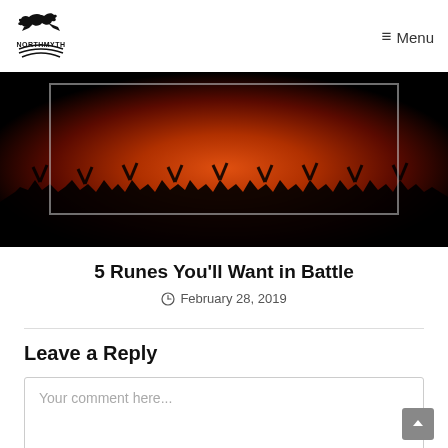NorthMyth | Menu
[Figure (photo): Dark image with red-orange fiery glow showing crowd silhouettes against a bright red/orange background, framed by a light gray rectangle border]
5 Runes You'll Want in Battle
February 28, 2019
Leave a Reply
Your comment here...